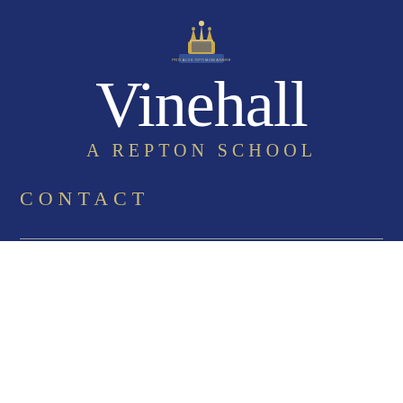[Figure (logo): Vinehall school crest with crown and banner reading PRO ALIIS OPTIMUM AGERE]
Vinehall
A REPTON SCHOOL
CONTACT
We use cookies on our website to give you the most relevant experience by remembering your preferences and repeat visits. By clicking “Accept All”, you consent to the use of ALL the cookies. However, you may visit “Cookie Settings” to provide a controlled consent.
Cookie Settings | Reject All | Accept All